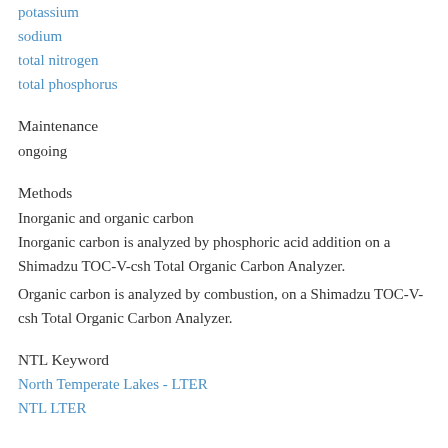potassium
sodium
total nitrogen
total phosphorus
Maintenance
ongoing
Methods
Inorganic and organic carbon
Inorganic carbon is analyzed by phosphoric acid addition on a Shimadzu TOC-V-csh Total Organic Carbon Analyzer.
Organic carbon is analyzed by combustion, on a Shimadzu TOC-V-csh Total Organic Carbon Analyzer.
NTL Keyword
North Temperate Lakes - LTER
NTL LTER